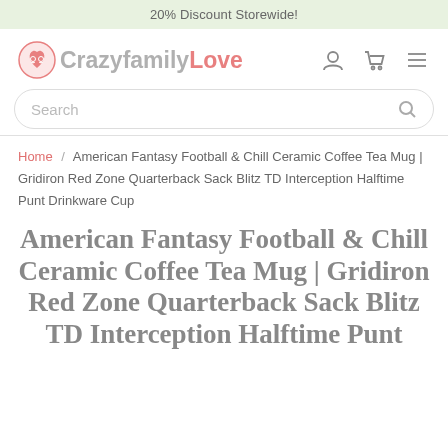20% Discount Storewide!
[Figure (logo): CrazyfamilyLove logo with heart icon and text]
Search
Home / American Fantasy Football & Chill Ceramic Coffee Tea Mug | Gridiron Red Zone Quarterback Sack Blitz TD Interception Halftime Punt Drinkware Cup
American Fantasy Football & Chill Ceramic Coffee Tea Mug | Gridiron Red Zone Quarterback Sack Blitz TD Interception Halftime Punt